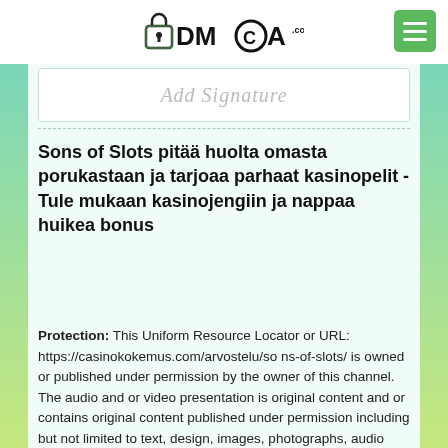[Figure (logo): DMCA.com logo with lock icon and hamburger menu button in green]
Add Signature
Sons of Slots pitää huolta omasta porukastaan ja tarjoaa parhaat kasinopelit - Tule mukaan kasinojengiin ja nappaa huikea bonus
Protection: This Uniform Resource Locator or URL: https://casinokokemus.com/arvostelu/sons-of-slots/ is owned or published under permission by the owner of this channel. The audio and or video presentation is original content and or contains original content published under permission including but not limited to text, design, images, photographs, audio and video